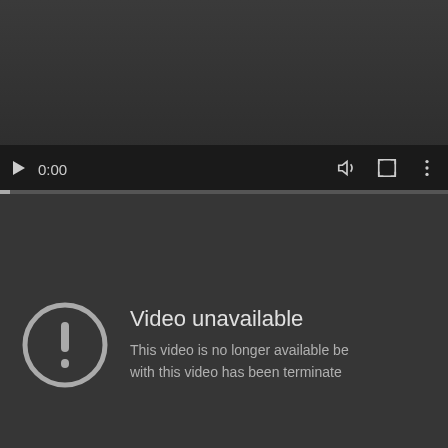[Figure (screenshot): YouTube-style video player showing a black/dark grey player area with controls bar at the bottom showing play button, timestamp 0:00, volume icon, fullscreen icon, and more options icon. A thin progress bar is visible below controls.]
Video unavailable
This video is no longer available be... with this video has been terminate...